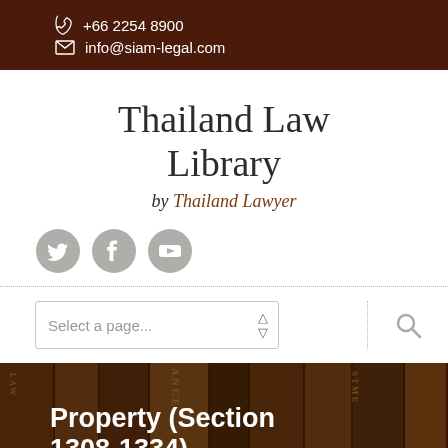+66 2254 8900
info@siam-legal.com
Thailand Law Library
by Thailand Lawyer
[Figure (logo): Social media icons: Twitter, Facebook, YouTube in grey circles]
[Figure (other): Dropdown selector: Select a page... with arrow and search icon]
[Figure (photo): Background photo of law books on a shelf, dark brown/amber tones]
Property (Section 1308-1334)